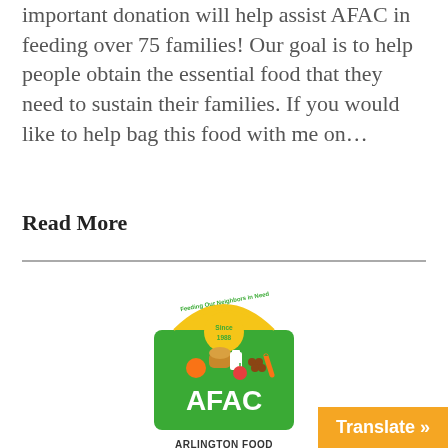important donation will help assist AFAC in feeding over 75 families! Our goal is to help people obtain the essential food that they need to sustain their families. If you would like to help bag this food with me on…
Read More
[Figure (logo): AFAC Arlington Food Assistance Center logo — green shopping bag shape with food items inside, yellow arch at top reading 'Feeding Our Neighbors in Need Since 1988', white text 'AFAC' in large letters, below 'ARLINGTON FOOD ASSISTANCE CENTER']
Translate »